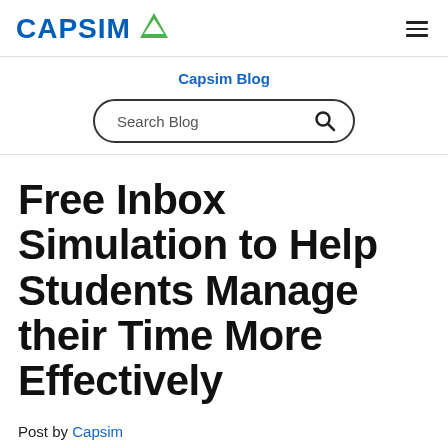CAPSIM [logo] [hamburger menu]
Capsim Blog
[Figure (screenshot): Search Blog input box with magnifying glass icon]
Free Inbox Simulation to Help Students Manage their Time More Effectively
Post by Capsim
June 12, 2019